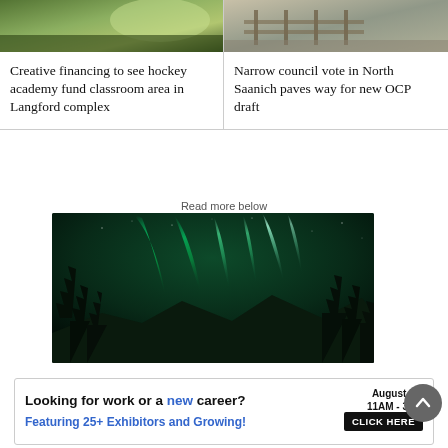[Figure (photo): Cropped photo of a hockey academy or garden scene with green foliage]
Creative financing to see hockey academy fund classroom area in Langford complex
[Figure (photo): Cropped photo of a fence and outdoor area, possibly North Saanich]
Narrow council vote in North Saanich paves way for new OCP draft
Read more below
[Figure (photo): Northern lights (aurora borealis) over a snowy mountain with pine trees silhouetted in foreground]
[Figure (infographic): Advertisement: Looking for work or a new career? August 25, 11AM - 3PM. Featuring 25+ Exhibitors and Growing! CLICK HERE]